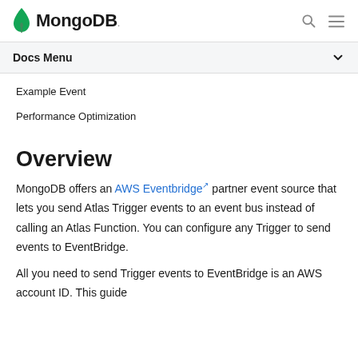MongoDB
Docs Menu
Example Event
Performance Optimization
Overview
MongoDB offers an AWS Eventbridge partner event source that lets you send Atlas Trigger events to an event bus instead of calling an Atlas Function. You can configure any Trigger to send events to EventBridge.
All you need to send Trigger events to EventBridge is an AWS account ID. This guide